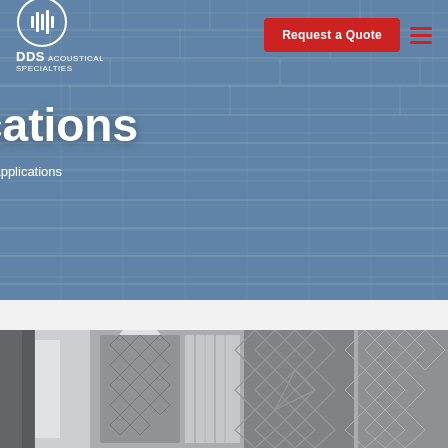[Figure (screenshot): DDS Acoustical Specialties website header with blue-gray wood plank background, company logo top-left, red 'Request a Quote' button and hamburger menu top-right, large white bold 'Applications' title centered, breadcrumb navigation 'Home | Applications' below title]
Applications
Home | Applications
[Figure (photo): Industrial acoustic panels or enclosures, metallic quilted/diamond-pattern panels in gray tones, close-up shot showing machinery or equipment insulation panels]